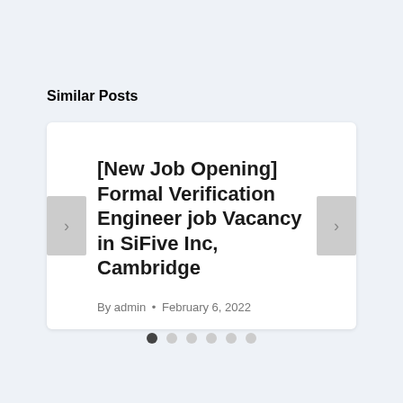Similar Posts
[New Job Opening] Formal Verification Engineer job Vacancy in SiFive Inc, Cambridge
By admin • February 6, 2022